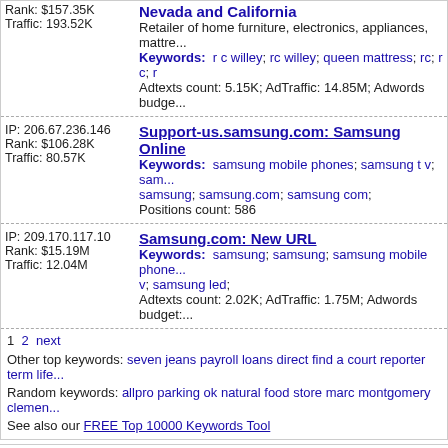Rank: $157.35K
Traffic: 193.52K
Nevada and California
Retailer of home furniture, electronics, appliances, mattr...
Keywords: r c willey; rc willey; queen mattress; rc; r c; r
Adtexts count: 5.15K; AdTraffic: 14.85M; Adwords budge...
IP: 206.67.236.146
Rank: $106.28K
Traffic: 80.57K
Support-us.samsung.com: Samsung Online
Keywords: samsung mobile phones; samsung t v; sam...
samsung; samsung.com; samsung com;
Positions count: 586
IP: 209.170.117.10
Rank: $15.19M
Traffic: 12.04M
Samsung.com: New URL
Keywords: samsung; samsung; samsung mobile phone...
v; samsung led;
Adtexts count: 2.02K; AdTraffic: 1.75M; Adwords budget:
1 2 next
Other top keywords: seven jeans payroll loans direct find a court reporter term life...
Random keywords: allpro parking ok natural food store marc montgomery clemen...
See also our FREE Top 10000 Keywords Tool
About  Affiliate program  Pricing  Top Keywords+  Top Sites+  Privacy Policy  Terms of Use